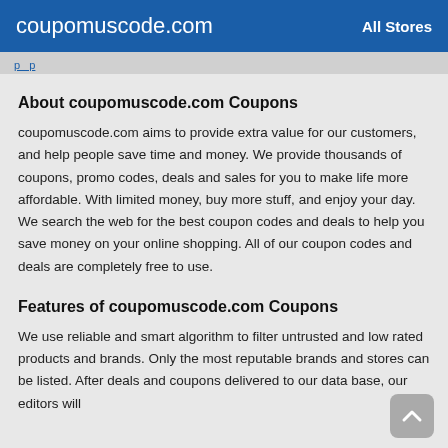coupomuscode.com   All Stores
p p
About coupomuscode.com Coupons
coupomuscode.com aims to provide extra value for our customers, and help people save time and money. We provide thousands of coupons, promo codes, deals and sales for you to make life more affordable. With limited money, buy more stuff, and enjoy your day. We search the web for the best coupon codes and deals to help you save money on your online shopping. All of our coupon codes and deals are completely free to use.
Features of coupomuscode.com Coupons
We use reliable and smart algorithm to filter untrusted and low rated products and brands. Only the most reputable brands and stores can be listed. After deals and coupons delivered to our data base, our editors will